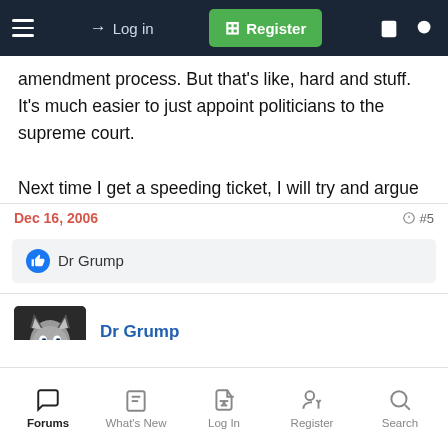Log in | Register
amendment process. But that's like, hard and stuff. It's much easier to just appoint politicians to the supreme court.
Next time I get a speeding ticket, I will try and argue that the anti-speeding statutes are a living document.
👍 Dr Grump
Dr Grump
Platinum Member
Forums | What's New | Log In | Register | Search